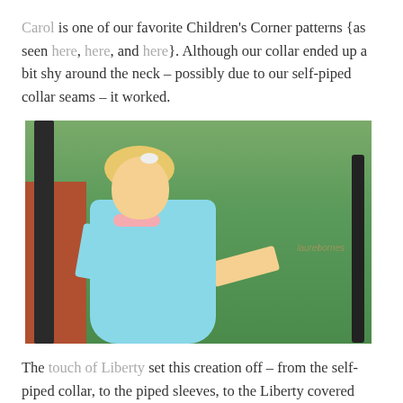Carol is one of our favorite Children's Corner patterns {as seen here, here, and here}. Although our collar ended up a bit shy around the neck – possibly due to our self-piped collar seams – it worked.
[Figure (photo): A young blonde girl in a light blue dress with pink collar, standing outdoors near a black metal post and railing with green foliage in the background. She has a white bow in her hair.]
The touch of Liberty set this creation off – from the self-piped collar, to the piped sleeves, to the Liberty covered buttons.